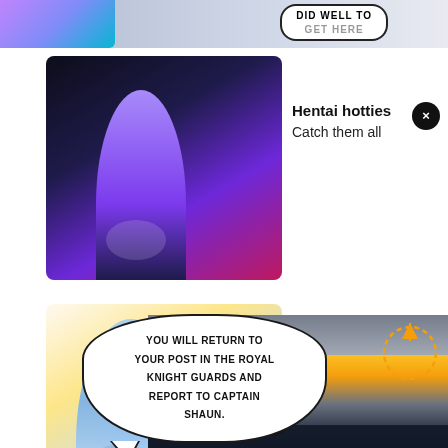[Figure (illustration): Manga comic page top strip showing partial manga panel with speech bubble text 'DID WELL TO GET HERE']
[Figure (illustration): Advertisement card 1: thumbnail of 3D anime girl with purple hair, title 'Hentai hotties', subtitle 'Catch them all', with X close button]
[Figure (illustration): Advertisement card 2: thumbnail of anime girl with silver/blue hair and cat hood, title 'Hentai hotties', subtitle 'Catch them all', with X close button]
[Figure (illustration): Manga speech bubble with text 'YOU WILL RETURN TO YOUR POST IN THE ROYAL KNIGHT GUARDS AND REPORT TO CAPTAIN SHAUN.' overlaid on bottom manga panel showing anime character face with blue hair and green eyes, with dotted circle arrow annotation]